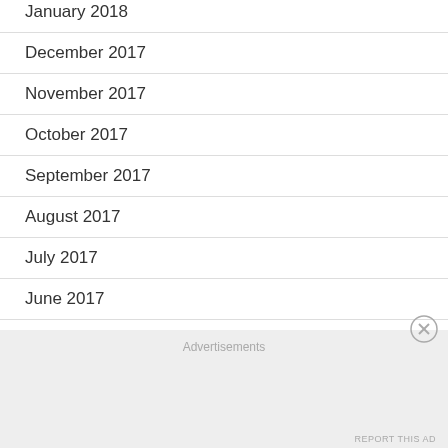January 2018
December 2017
November 2017
October 2017
September 2017
August 2017
July 2017
June 2017
Advertisements
REPORT THIS AD